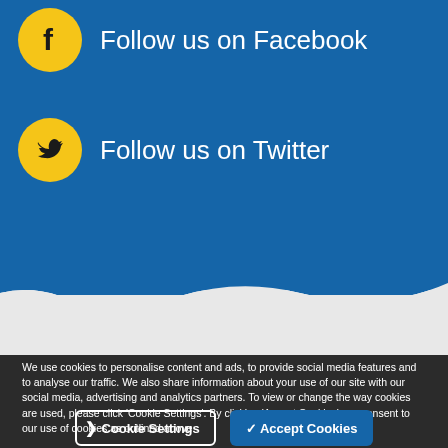[Figure (illustration): Facebook icon - yellow circle with black Facebook 'f' logo]
Follow us on Facebook
[Figure (illustration): Twitter icon - yellow circle with black Twitter bird logo]
Follow us on Twitter
We use cookies to personalise content and ads, to provide social media features and to analyse our traffic. We also share information about your use of our site with our social media, advertising and analytics partners. To view or change the way cookies are used, please click 'Cookie Settings'. By clicking 'Accept Cookies' you consent to our use of cookies as outlined above.
Cookie Settings
✓ Accept Cookies